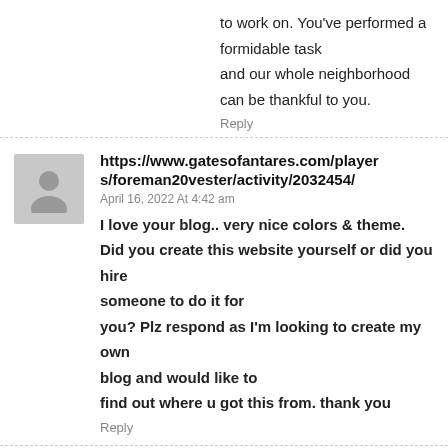to work on. You've performed a formidable task and our whole neighborhood can be thankful to you.
Reply
https://www.gatesofantares.com/players/foreman20vester/activity/2032454/
April 16, 2022 At 4:42 am
I love your blog.. very nice colors & theme. Did you create this website yourself or did you hire someone to do it for you? Plz respond as I'm looking to create my own blog and would like to find out where u got this from. thank you
Reply
https://telegra.ph/Do-You-Make-These-Easy-Mistakes-In-Minecraft-Jar-04-12
April 16, 2022 At 4:51 am